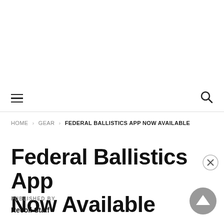Navigation bar with hamburger menu and search icon
HOME > GEAR > FEDERAL BALLISTICS APP NOW AVAILABLE
Federal Ballistics App Now Available
PUBLISHED BY
Recoil Staff